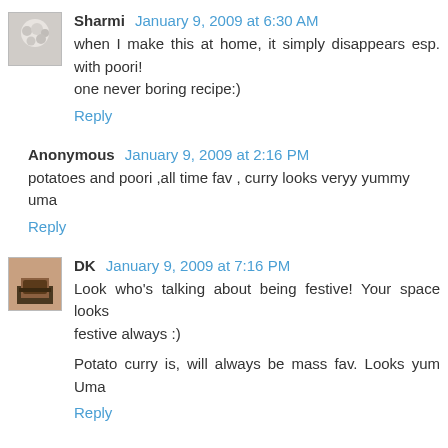Sharmi January 9, 2009 at 6:30 AM
when I make this at home, it simply disappears esp. with poori!
one never boring recipe:)
Reply
Anonymous January 9, 2009 at 2:16 PM
potatoes and poori ,all time fav , curry looks veryy yummy uma
Reply
DK January 9, 2009 at 7:16 PM
Look who's talking about being festive! Your space looks festive always :)
Potato curry is, will always be mass fav. Looks yum Uma
Reply